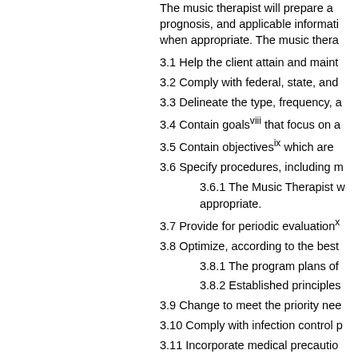The music therapist will prepare a prognosis, and applicable information when appropriate. The music thera...
3.1 Help the client attain and maint...
3.2 Comply with federal, state, and...
3.3 Delineate the type, frequency, a...
3.4 Contain goals(viii) that focus on a...
3.5 Contain objectives(ix) which are...
3.6 Specify procedures, including m...
3.6.1 The Music Therapist w... appropriate.
3.7 Provide for periodic evaluation(x)...
3.8 Optimize, according to the best...
3.8.1 The program plans of...
3.8.2 Established principles...
3.9 Change to meet the priority nee...
3.10 Comply with infection control p...
3.11 Incorporate medical precautio...
4.0 Standard IV - Implementation...